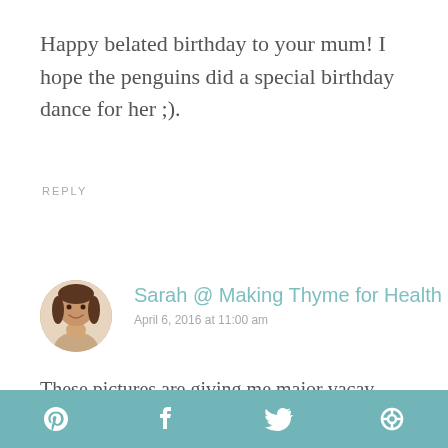Happy belated birthday to your mum! I hope the penguins did a special birthday dance for her ;).
REPLY
[Figure (photo): Circular avatar photo of a woman with brown hair, smiling]
Sarah @ Making Thyme for Health
April 6, 2016 at 11:00 am
These pictures are giving me major vacay envy! Want to touch the penguin, hehe! 😉

Happy birthday to mama Spoons!
Pinterest | Facebook | Twitter | Other social icon